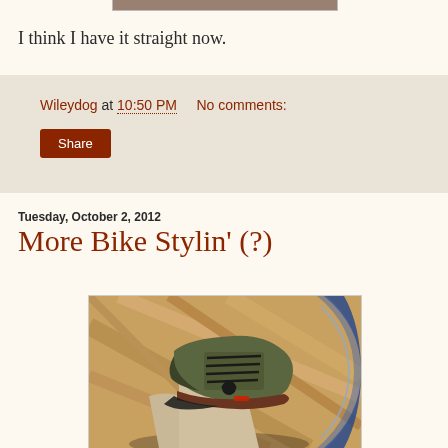[Figure (photo): Top portion of a photo showing an outdoor autumn scene (partially cropped at top of page)]
I think I have it straight now.
Wileydog at 10:50 PM   No comments:
Share
Tuesday, October 2, 2012
More Bike Stylin' (?)
[Figure (photo): Photo of a person's foot wearing an olive/dark green shoe with black laces, resting near a bicycle wheel rim, on a wooden floor background]